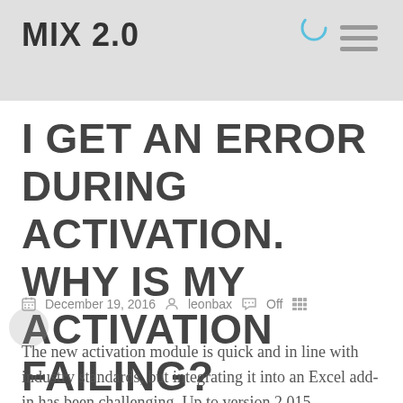MIX 2.0
I GET AN ERROR DURING ACTIVATION. WHY IS MY ACTIVATION FAILING?
December 19, 2016   leonbax   Off
The new activation module is quick and in line with industry standards, but integrating it into an Excel add-in has been challenging. Up to version 2.015...